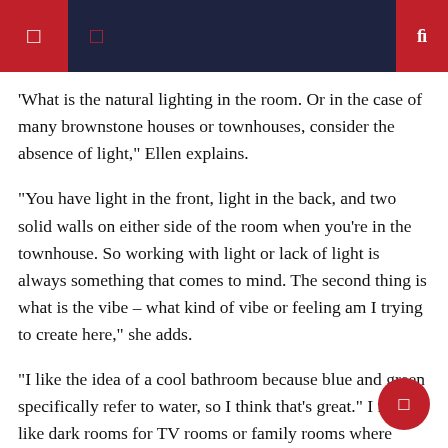'What is the natural lighting in the room. Or in the case of many brownstone houses or townhouses, consider the absence of light,' Ellen explains.
"You have light in the front, light in the back, and two solid walls on either side of the room when you're in the townhouse. So working with light or lack of light is always something that comes to mind. The second thing is what is the vibe – what kind of vibe or feeling am I trying to create here," she adds.
"I like the idea of a cool bathroom because blue and green specifically refer to water, so I think that's great." I really like dark rooms for TV rooms or family rooms where people hang out at night. I really like a dark teal or navy blue and a saturated blue can look really good.